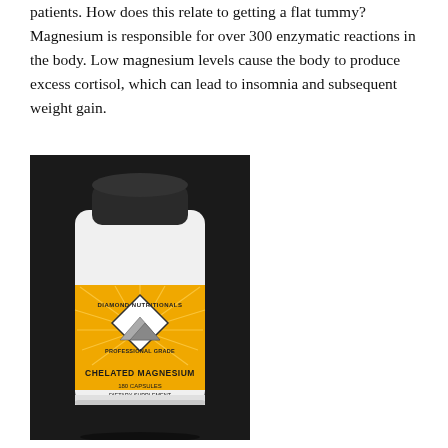patients. How does this relate to getting a flat tummy? Magnesium is responsible for over 300 enzymatic reactions in the body. Low magnesium levels cause the body to produce excess cortisol, which can lead to insomnia and subsequent weight gain.
[Figure (photo): A white supplement bottle with a black cap and a yellow label reading 'Diamond Nutritionals Professional Grade – Chelated Magnesium – 180 Capsules Dietary Supplement', photographed against a dark background.]